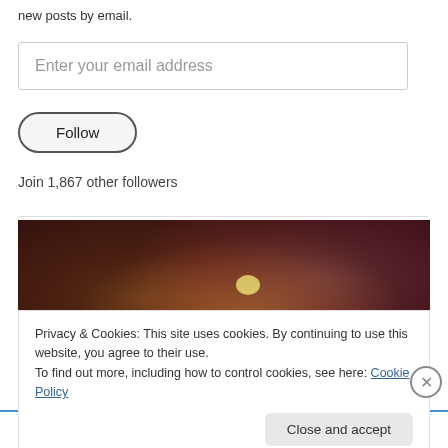new posts by email.
Enter your email address
Follow
Join 1,867 other followers
[Figure (photo): Close-up photo of animal fur with brown, golden, and reddish-purple tones]
Privacy & Cookies: This site uses cookies. By continuing to use this website, you agree to their use.
To find out more, including how to control cookies, see here: Cookie Policy
Close and accept
Advertisements